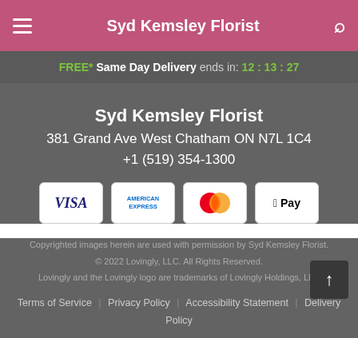Syd Kemsley Florist
FREE* Same Day Delivery ends in: 12:13:27
Syd Kemsley Florist
381 Grand Ave West Chatham ON N7L 1C4
+1 (519) 354-1300
[Figure (logo): Payment method logos: Visa, American Express, Mastercard, Apple Pay]
Copyrighted images herein are used with permission by Syd Kemsley Florist.
© 2022 Lovingly, LLC. All Rights Reserved.
Lovingly and the Lovingly logo are trademarks of Lovingly Holdings, LLC
Terms of Service | Privacy Policy | Accessibility Statement | Delivery Policy